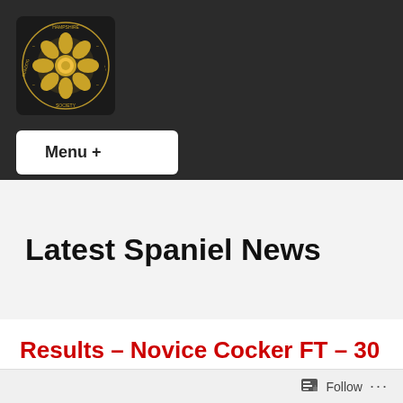[Figure (logo): Hampshire Gundog Society circular badge logo with gold rose emblem on dark background]
Menu +
Latest Spaniel News
Results – Novice Cocker FT – 30 Oct 21
Follow ...